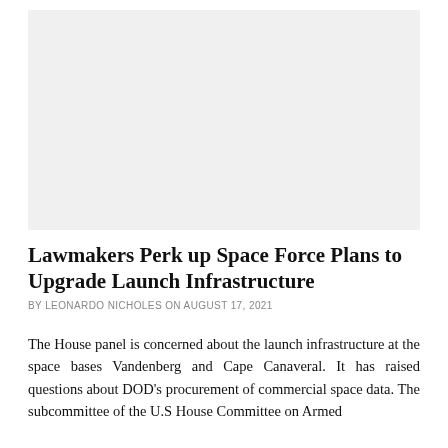[Figure (other): Gray rectangular placeholder image area at the top of the page]
Lawmakers Perk up Space Force Plans to Upgrade Launch Infrastructure
BY LEONARDO NICHOLES ON AUGUST 17, 2021
The House panel is concerned about the launch infrastructure at the space bases Vandenberg and Cape Canaveral. It has raised questions about DOD's procurement of commercial space data. The subcommittee of the U.S House Committee on Armed